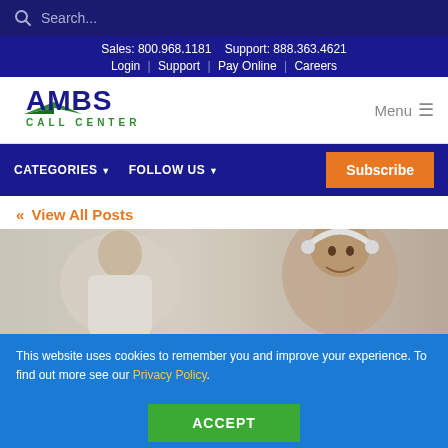Search...
Sales: 800.968.1181  Support: 888.363.4621
Login | Support | Pay Online | Careers
[Figure (logo): AMBS Call Center logo with green checkmark/swoosh and blue text]
Menu
CATEGORIES ▼   FOLLOW US ▼   Subscribe
« View All Posts
[Figure (photo): Call center workers wearing headsets, woman in foreground smiling, man in background]
This website uses cookies to remember you and improve your experience. To find out more see our Privacy Policy.
ACCEPT